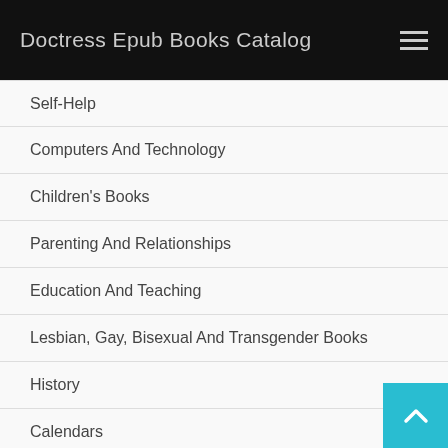Doctress Epub Books Catalog
Self-Help
Computers And Technology
Children's Books
Parenting And Relationships
Education And Teaching
Lesbian, Gay, Bisexual And Transgender Books
History
Calendars
Politics And Social Sciences